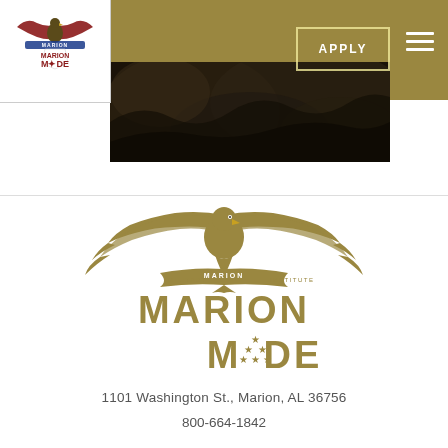[Figure (logo): Marion Military Institute 'Marion Made' logo in header - small version with eagle, banner, and text]
APPLY
[Figure (photo): Dark rocky/stone texture photo banner behind header]
[Figure (logo): Large Marion Military Institute 'Marion Made' gold eagle logo with text]
1101 Washington St., Marion, AL 36756
800-664-1842